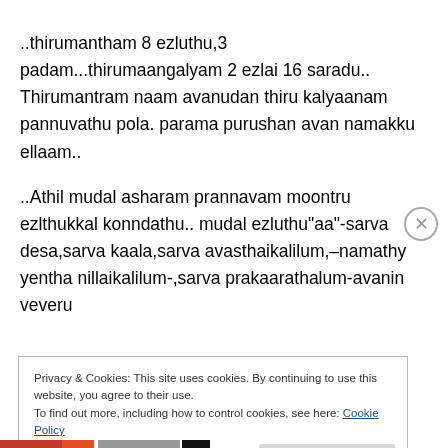..thirumantham 8 ezluthu,3 padam...thirumaangalyam 2 ezlai 16 saradu.. Thirumantram naam avanudan thiru kalyaanam pannuvathu pola. parama purushan avan namakku ellaam..
..Athil mudal asharam prannavam moontru ezlthukkal konndathu.. mudal ezluthu"aa"-sarva desa,sarva kaala,sarva avasthaikalilum,–namathy yentha nillaikalilum-,sarva prakaarathalum-avanin veveru
Privacy & Cookies: This site uses cookies. By continuing to use this website, you agree to their use.
To find out more, including how to control cookies, see here: Cookie Policy